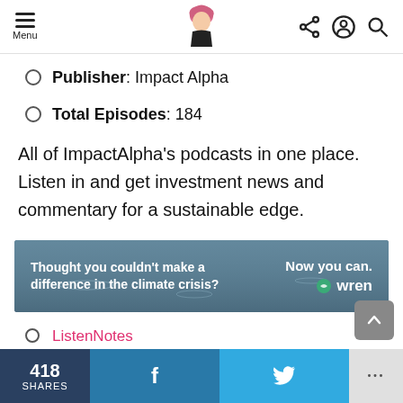Menu | ImpactAlpha | Share, Account, Search icons
Publisher: Impact Alpha
Total Episodes: 184
All of ImpactAlpha's podcasts in one place. Listen in and get investment news and commentary for a sustainable edge.
[Figure (other): Advertisement banner: 'Thought you couldn't make a difference in the climate crisis? Now you can. wren']
ListenNotes
Listen on iTunes
RSS feed
418 SHARES | Facebook share | Twitter share | More